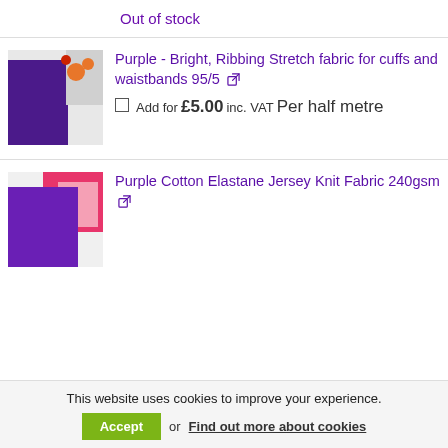Out of stock
[Figure (photo): Purple ribbing stretch fabric with orange decorative items on white background]
Purple - Bright, Ribbing Stretch fabric for cuffs and waistbands 95/5
Add for £5.00 inc. VAT Per half metre
[Figure (photo): Purple cotton elastane jersey knit fabric with pink border on white background]
Purple Cotton Elastane Jersey Knit Fabric 240gsm
This website uses cookies to improve your experience.
Accept or Find out more about cookies